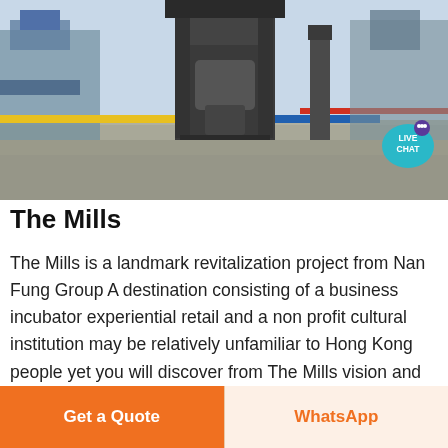[Figure (photo): Industrial factory interior showing machinery and equipment on a floor covered with small pellets/granules. A large metal press or industrial machine is centered in the image.]
The Mills
The Mills is a landmark revitalization project from Nan Fung Group A destination consisting of a business incubator experiential retail and a non profit cultural institution may be relatively unfamiliar to Hong Kong people yet you will discover from The Mills vision and history that it is a purely Hong Kong story.